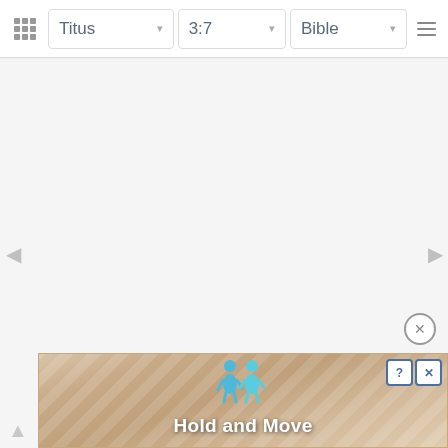Titus 3:7 Bible
[Figure (screenshot): Bible app screenshot showing navigation bar with Titus 3:7 selected, empty content area with left and right navigation arrows, a close button, and an advertisement banner at the bottom reading 'Hold and Move' with blue figures and sandy background]
Hold and Move